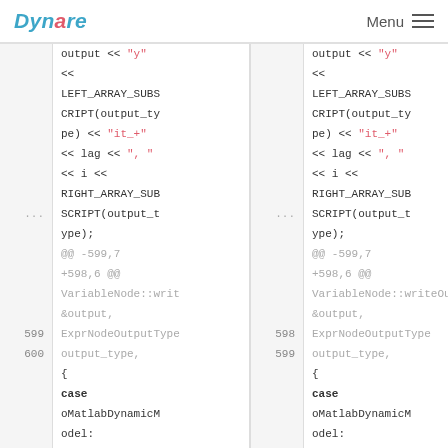Dynare   Menu
[Figure (screenshot): Side-by-side diff view of source code showing two panels with line numbers. Left panel lines 599-600 and right panel lines 598-599. Code shows output stream operations with LEFT_ARRAY_SUBSCRIPT, RIGHT_ARRAY_SUBSCRIPT, case oMatlabDynamicModel. Diff hunk header @@ -599,7 +598,6 @@ VariableNode::writeOutput(&output, ExprNodeOutputType output_type,]